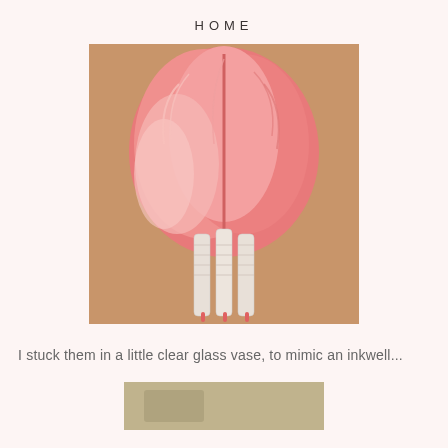HOME
[Figure (photo): Pink/coral ostrich feathers fanned out at the top, with white patterned pen handles (3 pens) at the bottom, laid on a wooden surface]
I stuck them in a little clear glass vase, to mimic an inkwell...
[Figure (photo): Partial view of a photo at the bottom of the page, appears to show a vase arrangement]